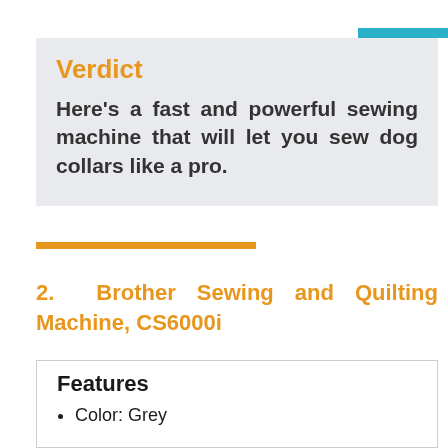Verdict
Here's a fast and powerful sewing machine that will let you sew dog collars like a pro.
2.  Brother Sewing and Quilting Machine, CS6000i
Features
Color: Grey